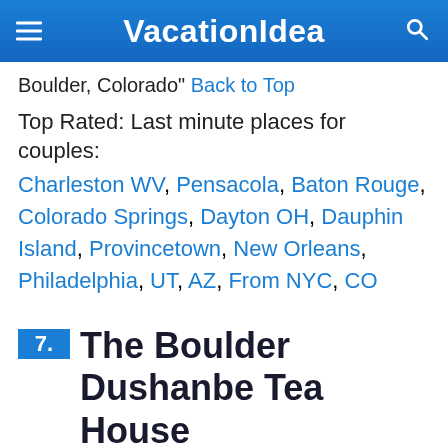VacationIdea
Boulder, Colorado" Back to Top
Top Rated: Last minute places for couples: Charleston WV, Pensacola, Baton Rouge, Colorado Springs, Dayton OH, Dauphin Island, Provincetown, New Orleans, Philadelphia, UT, AZ, From NYC, CO
7. The Boulder Dushanbe Tea House
[Figure (photo): Partial view of the Boulder Dushanbe Tea House building exterior]